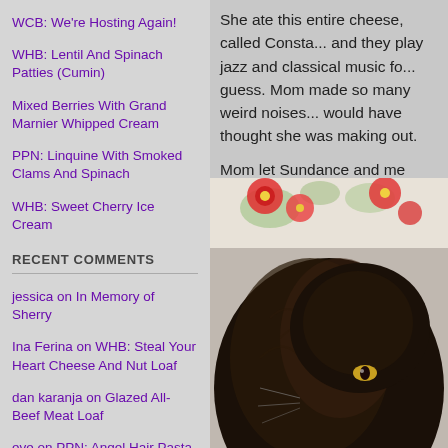WCB: We're Hosting Again!
WHB: Lentil And Spinach Patties (Cumin)
Mixed Berries With Grand Marnier Whipped Cream
PPN: Linquine With Smoked Clams And Spinach
WHB: Sweet Cherry Ice Cream
RECENT COMMENTS
jessica on In Memory of Sherry
Ina Ferina on WHB: Steal Your Heart Cheese And Nut Loaf
dan karanja on Glazed All-Beef Meat Loaf
eve on PPN: Angel Hair Pasta With Sweet Red Pepper Pesto
cakengifts.in on Double Chocolate Cake
Tejaa Shri on BBB: Sullivan Street Potato Pizza
She ate this entire cheese, called Const... and they play jazz and classical music fo... guess. Mom made so many weird noises... would have thought she was making out.
Mom let Sundance and me smell the pac... to admit, it smelled nice and funky!  I trie... it.
[Figure (photo): A close-up photo of a dark brown/black fluffy cat with yellow eyes, with floral fabric visible in the background.]